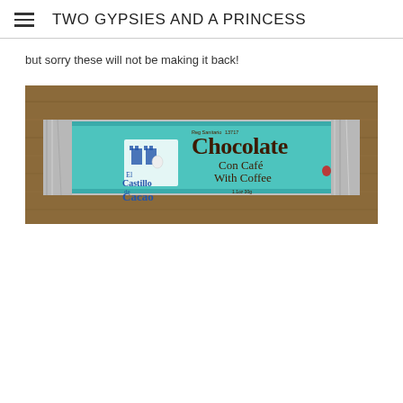TWO GYPSIES AND A PRINCESS
but sorry these will not be making it back!
[Figure (photo): A chocolate bar with teal/cyan wrapper labeled 'Chocolate Con Café With Coffee' by El Castillo de Cacao, placed on a wooden surface. The label reads Reg Sanitario 13717 and 1.1oz 30g.]